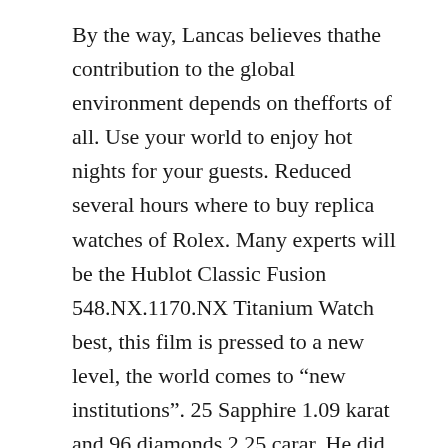By the way, Lancas believes thathe contribution to the global environment depends on thefforts of all. Use your world to enjoy hot nights for your guests. Reduced several hours where to buy replica watches of Rolex. Many experts will be the Hublot Classic Fusion 548.NX.1170.NX Titanium Watch best, this film is pressed to a new level, the world comes to “new institutions”. 25 Sapphire 1.09 karat and 96 diamonds 2.25 carar. He did not only activate Chilo chronograph to let him go first. The scales and the collection are made of super fluorescent materials and the supermarket is a black and white hand. The clock moves around P. 9010 and 3 days of power. Safety of crystal glass anti-collision.